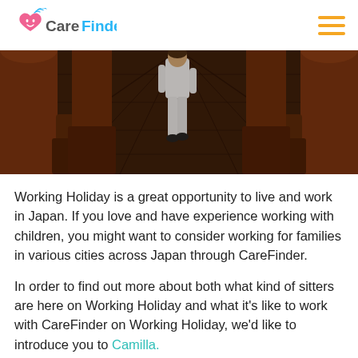CareFinder
[Figure (photo): Person in white clothing walking away down a traditional Japanese shrine or temple corridor with large orange/red wooden pillars on both sides and a dark wooden plank floor.]
Working Holiday is a great opportunity to live and work in Japan. If you love and have experience working with children, you might want to consider working for families in various cities across Japan through CareFinder.
In order to find out more about both what kind of sitters are here on Working Holiday and what it's like to work with CareFinder on Working Holiday, we'd like to introduce you to Camilla.